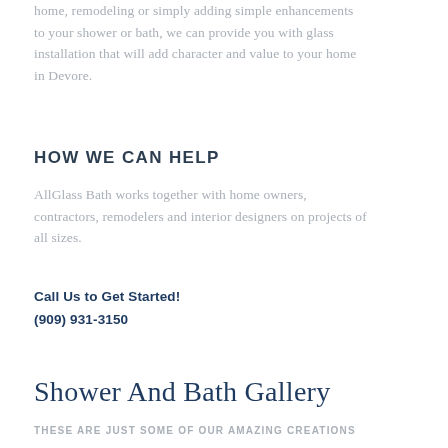home, remodeling or simply adding simple enhancements to your shower or bath, we can provide you with glass installation that will add character and value to your home in Devore.
HOW WE CAN HELP
AllGlass Bath works together with home owners, contractors, remodelers and interior designers on projects of all sizes.
Call Us to Get Started!
(909) 931-3150
Shower And Bath Gallery
THESE ARE JUST SOME OF OUR AMAZING CREATIONS